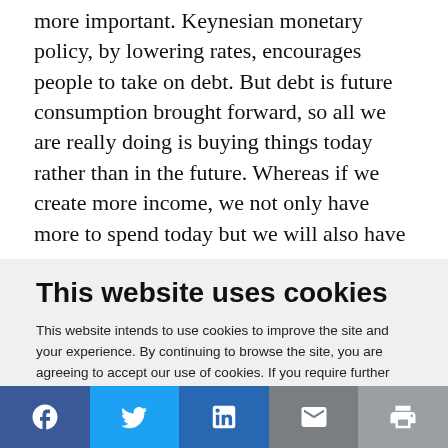more important. Keynesian monetary policy, by lowering rates, encourages people to take on debt. But debt is future consumption brought forward, so all we are really doing is buying things today rather than in the future. Whereas if we create more income, we not only have more to spend today but we will also have
This website uses cookies
This website intends to use cookies to improve the site and your experience. By continuing to browse the site, you are agreeing to accept our use of cookies. If you require further information and/or do not wish to have cookies captured when using the site, visit our Privacy Policy.
ACCEPT COOKIES
[Figure (infographic): Social media sharing bar with icons for Facebook, Twitter, LinkedIn, email, and print]